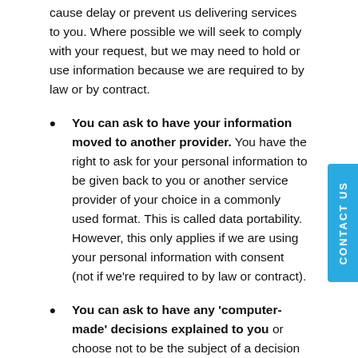cause delay or prevent us delivering services to you. Where possible we will seek to comply with your request, but we may need to hold or use information because we are required to by law or by contract.
You can ask to have your information moved to another provider. You have the right to ask for your personal information to be given back to you or another service provider of your choice in a commonly used format. This is called data portability. However, this only applies if we are using your personal information with consent (not if we're required to by law or contract).
You can ask to have any 'computer-made' decisions explained to you or choose not to be the subject of a decision which is based on automated processing. You have the right to